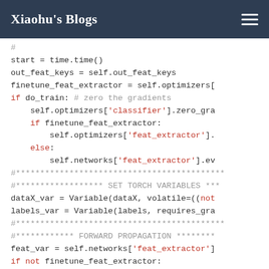Xiaohu's Blogs
[Figure (screenshot): Python code block showing training loop with optimizer zero_grad, feat_extractor, variable assignments, and forward propagation sections]